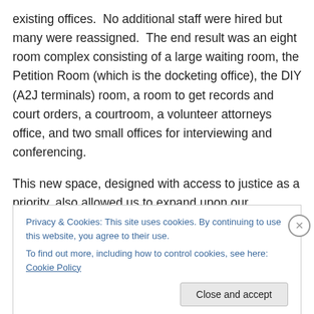existing offices.  No additional staff were hired but many were reassigned.  The end result was an eight room complex consisting of a large waiting room, the Petition Room (which is the docketing office), the DIY (A2J terminals) room, a room to get records and court orders, a courtroom, a volunteer attorneys office, and two small offices for interviewing and conferencing.
This new space, designed with access to justice as a priority, also allowed us to expand upon our volunteer legal services partnerships.  These include:
Privacy & Cookies: This site uses cookies. By continuing to use this website, you agree to their use.
To find out more, including how to control cookies, see here: Cookie Policy
Close and accept